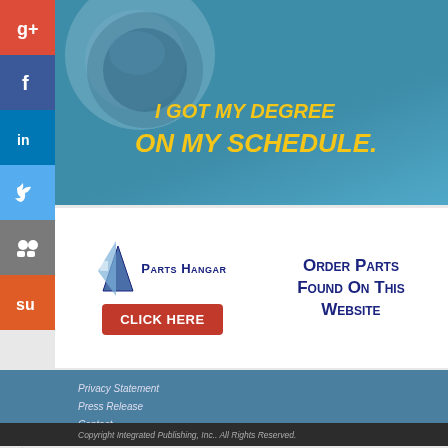[Figure (illustration): Teal/blue advertisement banner with circular graphic element on left and bold yellow italic text reading 'I GOT MY DEGREE ON MY SCHEDULE.']
[Figure (logo): Parts Hangar advertisement banner with logo, 'CLICK HERE' red button, and text 'Order Parts Found On This Website']
Privacy Statement
Press Release
Contact
Copyright Integrated Publishing, Inc.. All Rights Reserved.
Integrated Publishing, Inc. - A (SDVOSB) Service Disabled Veteran Owned Small Business